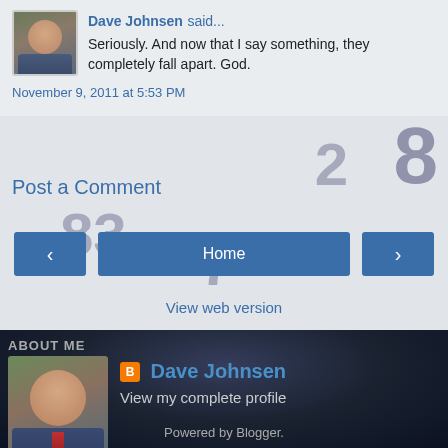Dave Johnsen said...
Seriously. And now that I say something, they completely fall apart. God.
November 9, 2011 at 5:53 PM
Post a Comment
Home
View web version
ABOUT ME
Dave Johnsen
View my complete profile
Home
Powered by Blogger.